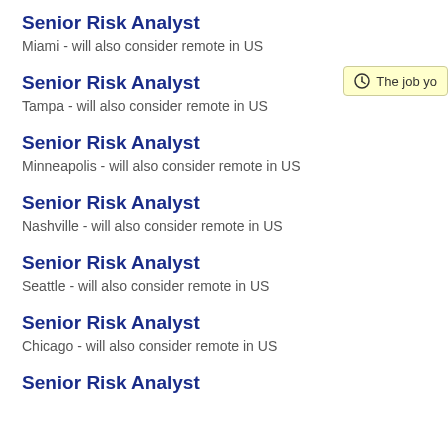Senior Risk Analyst
Miami - will also consider remote in US
Senior Risk Analyst
Tampa - will also consider remote in US
Senior Risk Analyst
Minneapolis - will also consider remote in US
Senior Risk Analyst
Nashville - will also consider remote in US
Senior Risk Analyst
Seattle - will also consider remote in US
Senior Risk Analyst
Chicago - will also consider remote in US
Senior Risk Analyst